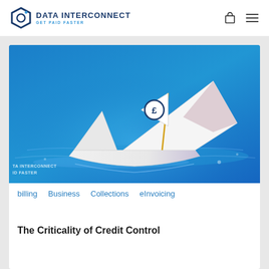DATA INTERCONNECT GET PAID FASTER
[Figure (photo): Paper boat with a flag showing a pound sterling coin symbol, floating on blue water, with 'DATA INTERCONNECT GET PAID FASTER' watermark in bottom-left corner]
billing  Business  Collections  eInvoicing
The Criticality of Credit Control